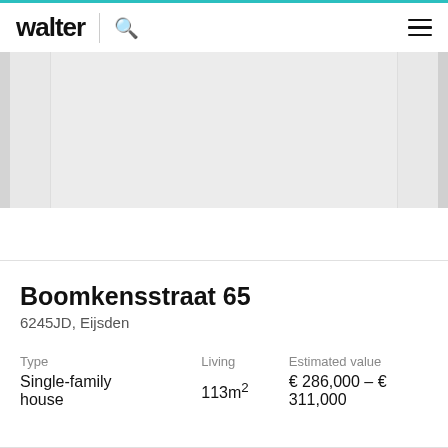walter
[Figure (photo): Property image carousel showing a house photo with left and right side panels partially visible]
Boomkensstraat 65
6245JD, Eijsden
| Type | Living | Estimated value |
| --- | --- | --- |
| Single-family house | 113m² | € 286,000 – € 311,000 |